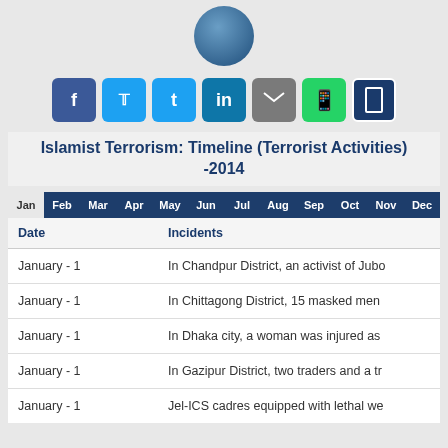[Figure (illustration): Blue circular avatar/profile image at top center]
[Figure (infographic): Row of social sharing buttons: Facebook (blue), Twitter (light blue), LinkedIn (dark blue), Email (grey), WhatsApp (green), Bookmark (dark blue)]
Islamist Terrorism: Timeline (Terrorist Activities) -2014
| Jan | Feb | Mar | Apr | May | Jun | Jul | Aug | Sep | Oct | Nov | Dec |
| --- | --- | --- | --- | --- | --- | --- | --- | --- | --- | --- | --- |
| Date | Incidents |
| --- | --- |
| January - 1 | In Chandpur District, an activist of Jubo |
| January - 1 | In Chittagong District, 15 masked men |
| January - 1 | In Dhaka city, a woman was injured as |
| January - 1 | In Gazipur District, two traders and a tr |
| January - 1 | Jel-ICS cadres equipped with lethal we |